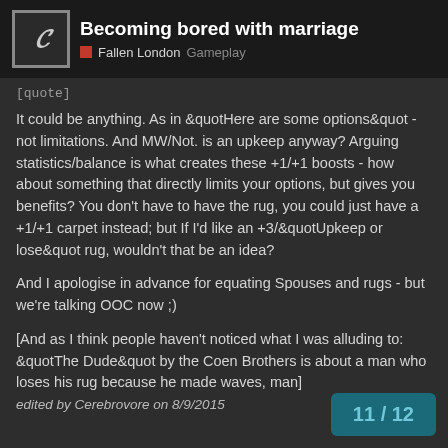Becoming bored with marriage | Fallen London Gameplay
[quote]
It could be anything. As in &quotHere are some options&quot - not limitations. And MW/Not. is an upkeep anyway? Arguing statistics/balance is what creates these +1/+1 boosts - how about something that directly limits your options, but gives you benefits? You don't have to have the rug, you could just have a +1/+1 carpet instead; but If I'd like an +3/&quotUpkeep or lose&quot rug, wouldn't that be an idea?
And I apologise in advance for equating Spouses and rugs - but we're talking OOC now ;)
[And as I think people haven't noticed what I was alluding to: &quotThe Dude&quot by the Coen Brothers is about a man who loses his rug because he made waves, man]
edited by Cerebrovore on 8/9/2015
11 / 12